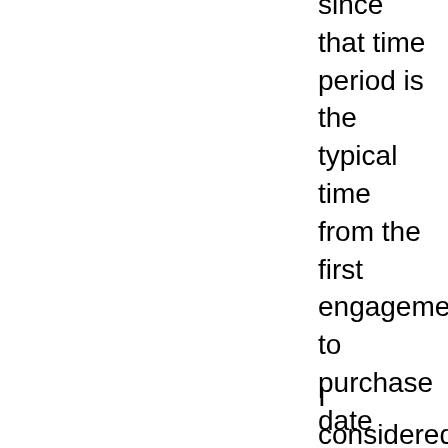from the last 7 days since that time period is the typical time from the first engagement to purchase date (according to my fake data). I made many of the engagement behaviors lower intent than the demographic attributes because users can have a degree of activity over short periods of time while conducting research on a company without necessarily being ready for a purchase or sales conversation.
I considered web activity in the last 7 days to be equivalent to have a small priority